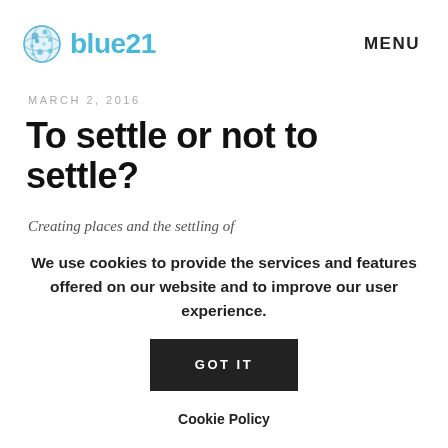blue21  MENU
MARCH 2, 2016
To settle or not to settle?
Creating places and the settling of
We use cookies to provide the services and features offered on our website and to improve our user experience.
GOT IT
Cookie Policy